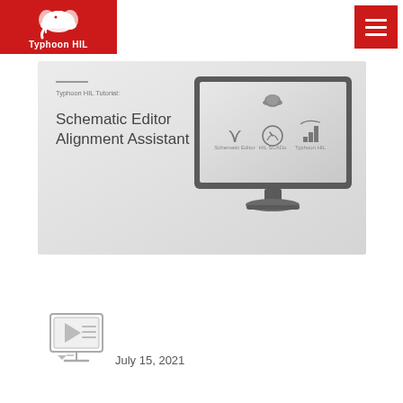Typhoon HIL
[Figure (screenshot): Typhoon HIL Tutorial banner showing 'Schematic Editor Alignment Assistant' title on left side with decorative line and label 'Typhoon HIL Tutorial:', and on the right a grey monitor illustration showing the Typhoon HIL software interface with icons for Schematic Editor, HIL SCADo, and Typhoon HIL.]
[Figure (illustration): Small video/presentation icon showing a monitor with play button and text lines, representing a tutorial video thumbnail.]
July 15, 2021